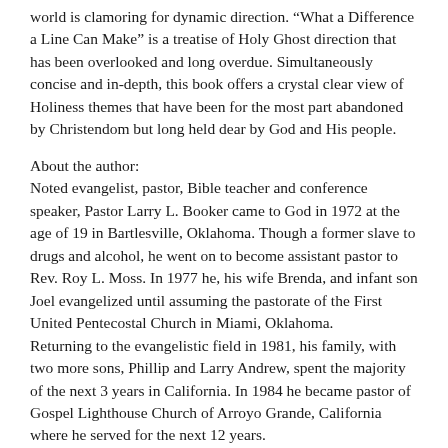world is clamoring for dynamic direction. “What a Difference a Line Can Make” is a treatise of Holy Ghost direction that has been overlooked and long overdue. Simultaneously concise and in-depth, this book offers a crystal clear view of Holiness themes that have been for the most part abandoned by Christendom but long held dear by God and His people.
About the author:
Noted evangelist, pastor, Bible teacher and conference speaker, Pastor Larry L. Booker came to God in 1972 at the age of 19 in Bartlesville, Oklahoma. Though a former slave to drugs and alcohol, he went on to become assistant pastor to Rev. Roy L. Moss. In 1977 he, his wife Brenda, and infant son Joel evangelized until assuming the pastorate of the First United Pentecostal Church in Miami, Oklahoma.
Returning to the evangelistic field in 1981, his family, with two more sons, Phillip and Larry Andrew, spent the majority of the next 3 years in California. In 1984 he became pastor of Gospel Lighthouse Church of Arroyo Grande, California where he served for the next 12 years.
In 1996 Reverend Booker felt the call to the Inland Lighthouse Church of Rialto, California. Since arriving, the church has grown steadily from under fifty into the hundreds.